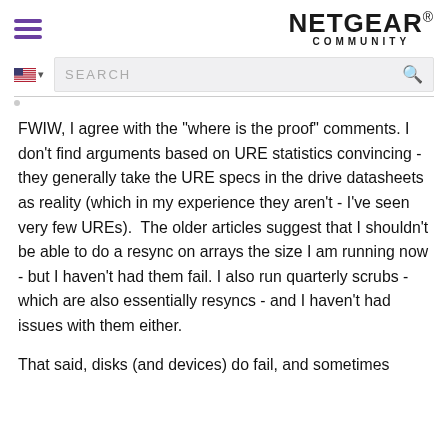NETGEAR COMMUNITY
[Figure (screenshot): Search bar with US flag language selector and magnifying glass icon]
FWIW, I agree with the "where is the proof" comments. I don't find arguments based on URE statistics convincing - they generally take the URE specs in the drive datasheets as reality (which in my experience they aren't - I've seen very few UREs).  The older articles suggest that I shouldn't be able to do a resync on arrays the size I am running now - but I haven't had them fail. I also run quarterly scrubs - which are also essentially resyncs - and I haven't had issues with them either.
That said, disks (and devices) do fail, and sometimes